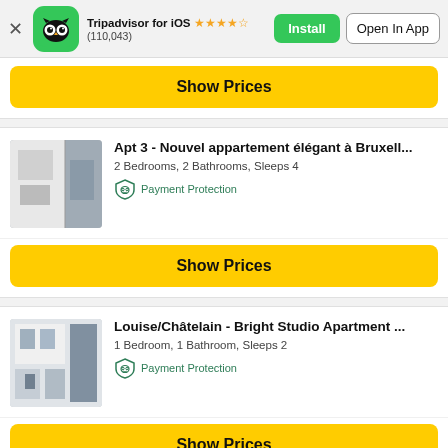Tripadvisor for iOS ★★★★½ (110,043) Install | Open In App
[Figure (screenshot): Tripadvisor owl logo on green rounded square background]
Show Prices
Apt 3 - Nouvel appartement élégant à Bruxell...
2 Bedrooms, 2 Bathrooms, Sleeps 4
Payment Protection
Show Prices
Louise/Châtelain - Bright Studio Apartment ...
1 Bedroom, 1 Bathroom, Sleeps 2
Payment Protection
Show Prices